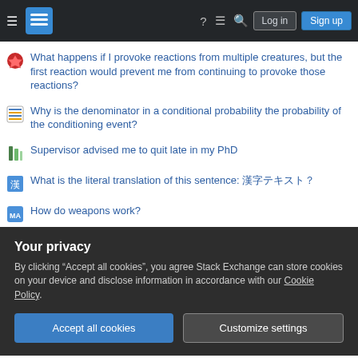Stack Exchange navigation header with Log in and Sign up buttons
What happens if I provoke reactions from multiple creatures, but the first reaction would prevent me from continuing to provoke those reactions?
Why is the denominator in a conditional probability the probability of the conditioning event?
Supervisor advised me to quit late in my PhD
What is the literal translation of this sentence: 漢字テキスト?
How do weapons work?
Rotating 2D graph like if it were in 3D
Walter White meets Lionel Messi
Why doesn't Greek cuisine use a lot of spices, compared to
Your privacy
By clicking "Accept all cookies", you agree Stack Exchange can store cookies on your device and disclose information in accordance with our Cookie Policy.
Accept all cookies | Customize settings
BIBLICAL HERMENEUTICS